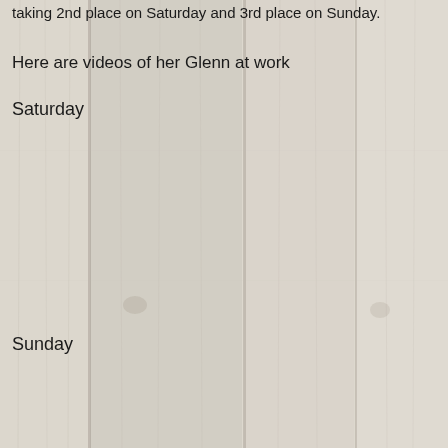taking 2nd place on Saturday and 3rd place on Sunday.
Here are videos of her Glenn at work
Saturday
[Figure (photo): Whitewashed wooden plank background with vertical planks and natural wood grain texture]
Sunday